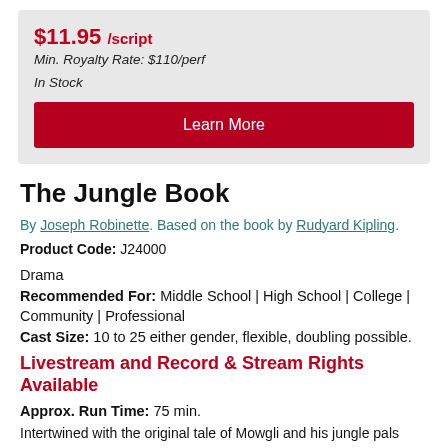$11.95 /script
Min. Royalty Rate: $110/perf
In Stock
Learn More
The Jungle Book
By Joseph Robinette. Based on the book by Rudyard Kipling.
Product Code: J24000
Drama
Recommended For: Middle School | High School | College | Community | Professional
Cast Size: 10 to 25 either gender, flexible, doubling possible.
Livestream and Record & Stream Rights Available
Approx. Run Time: 75 min.
Intertwined with the original tale of Mowgli and his jungle pals